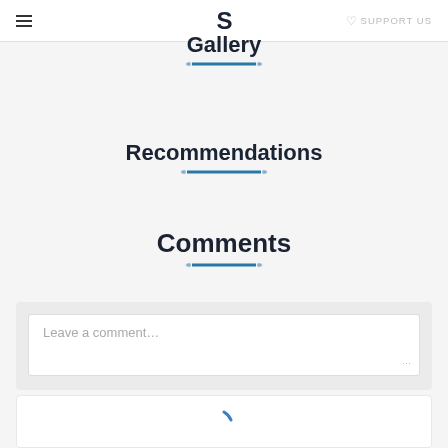≡ S ♡ SUPPORT US
Gallery
Recommendations
Comments
Leave a comment...
[Figure (other): Loading spinner icon in blue]